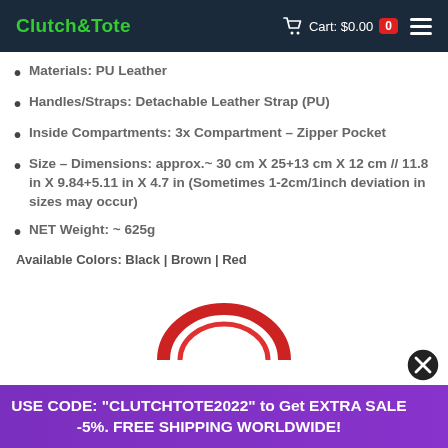Clutch & Tote — Cart: $0.00 [0]
Materials: PU Leather
Handles/Straps: Detachable Leather Strap (PU)
Inside Compartments: 3x Compartment – Zipper Pocket
Size – Dimensions: approx.~ 30 cm X 25+13 cm X 12 cm // 11.8 in X 9.84+5.11 in X 4.7 in (Sometimes 1-2cm/1inch deviation in sizes may occur)
NET Weight: ~ 625g
Available Colors: Black | Brown | Red
[Figure (photo): Bottom portion of a red handbag visible at the bottom of the page]
USE CODE: "CLUTCHTOTE2022" to Get EXTRA SALE -5%. FREE SHIPPING WORLDWIDE!